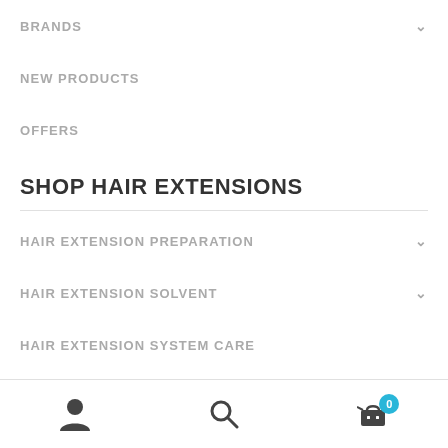BRANDS
NEW PRODUCTS
OFFERS
SHOP HAIR EXTENSIONS
HAIR EXTENSION PREPARATION
HAIR EXTENSION SOLVENT
HAIR EXTENSION SYSTEM CARE
user icon, search icon, cart with badge 0